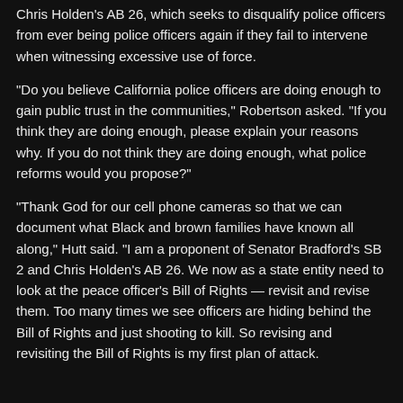Chris Holden's AB 26, which seeks to disqualify police officers from ever being police officers again if they fail to intervene when witnessing excessive use of force.
“Do you believe California police officers are doing enough to gain public trust in the communities,” Robertson asked. “If you think they are doing enough, please explain your reasons why. If you do not think they are doing enough, what police reforms would you propose?”
“Thank God for our cell phone cameras so that we can document what Black and brown families have known all along,” Hutt said. “I am a proponent of Senator Bradford’s SB 2 and Chris Holden’s AB 26. We now as a state entity need to look at the peace officer’s Bill of Rights — revisit and revise them. Too many times we see officers are hiding behind the Bill of Rights and just shooting to kill. So revising and revisiting the Bill of Rights is my first plan of attack.